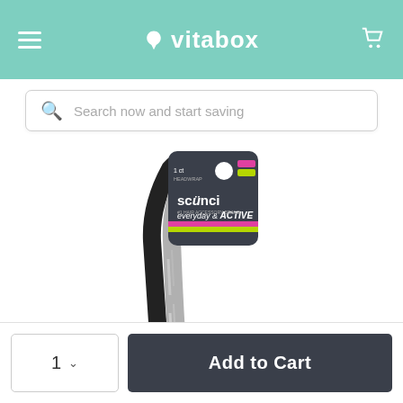vitabox — navigation header with hamburger menu, logo, and cart icon
Search now and start saving
[Figure (photo): Scunci Everyday & Active headwrap product in packaging. Dark card header with 'scünci #1 hair accessory brand' branding and 'everyday & ACTIVE' text. The headwrap is black and grey marbled fabric.]
1  ∨   Add to Cart